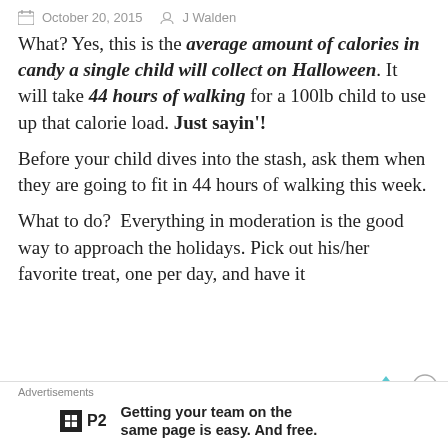October 20, 2015   J Walden
What? Yes, this is the average amount of calories in candy a single child will collect on Halloween. It will take 44 hours of walking for a 100lb child to use up that calorie load. Just sayin'!
Before your child dives into the stash, ask them when they are going to fit in 44 hours of walking this week.
What to do?  Everything in moderation is the good way to approach the holidays. Pick out his/her favorite treat, one per day, and have it
Advertisements
Getting your team on the same page is easy. And free.